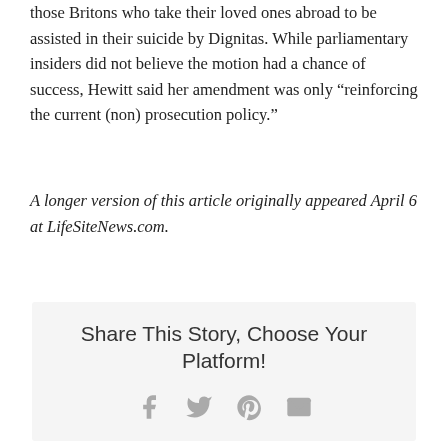those Britons who take their loved ones abroad to be assisted in their suicide by Dignitas. While parliamentary insiders did not believe the motion had a chance of success, Hewitt said her amendment was only “reinforcing the current (non) prosecution policy.”
A longer version of this article originally appeared April 6 at LifeSiteNews.com.
Share This Story, Choose Your Platform!